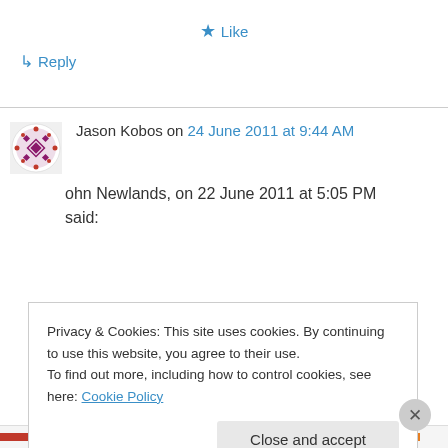★ Like
↳ Reply
Jason Kobos on 24 June 2011 at 9:44 AM
ohn Newlands, on 22 June 2011 at 5:05 PM said:
Privacy & Cookies: This site uses cookies. By continuing to use this website, you agree to their use.
To find out more, including how to control cookies, see here: Cookie Policy
Close and accept